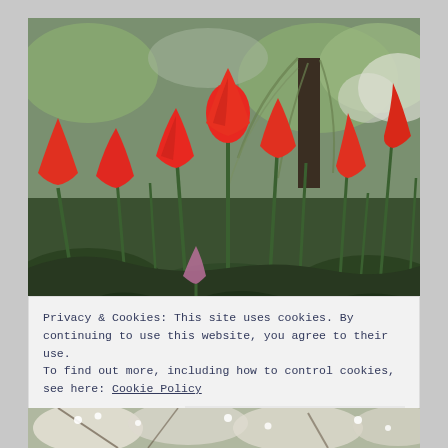[Figure (photo): Photograph of red tulips in bloom in a park or garden, with green leafy stems and dark green leaves in the foreground, and trees with white blossoms and a large dark-trunked willow tree in the background under an overcast sky.]
Privacy & Cookies: This site uses cookies. By continuing to use this website, you agree to their use.
To find out more, including how to control cookies, see here: Cookie Policy
Close and accept
[Figure (photo): Partial photograph showing blossoming white flowers on tree branches, bottom strip of the page.]